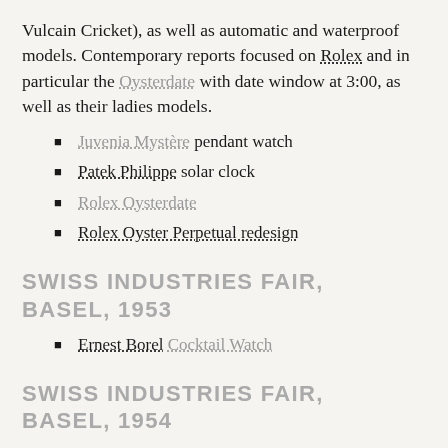Vulcain Cricket), as well as automatic and waterproof models. Contemporary reports focused on Rolex and in particular the Oysterdate with date window at 3:00, as well as their ladies models.
Juvenia Mystère pendant watch
Patek Philippe solar clock
Rolex Oysterdate
Rolex Oyster Perpetual redesign
SWISS INDUSTRIES FAIR, BASEL, 1953
Ernest Borel Cocktail Watch
SWISS INDUSTRIES FAIR, BASEL, 1954